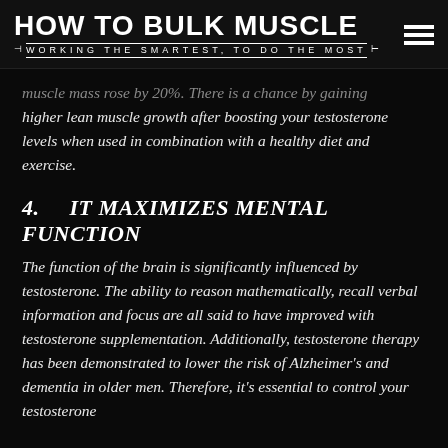HOW TO BULK MUSCLE — WORKING THE SMARTEST, TO DO THE MOST
…muscle mass rose by 20%. There is a chance by gaining higher lean muscle growth after boosting your testosterone levels when used in combination with a healthy diet and exercise.
4. IT MAXIMIZES MENTAL FUNCTION
The function of the brain is significantly influenced by testosterone. The ability to reason mathematically, recall verbal information and focus are all said to have improved with testosterone supplementation. Additionally, testosterone therapy has been demonstrated to lower the risk of Alzheimer's and dementia in older men. Therefore, it's essential to control your testosterone